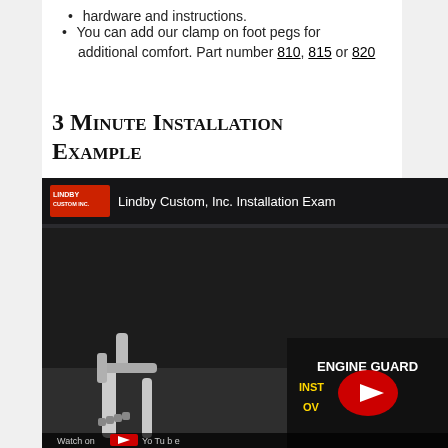You can add our clamp on foot pegs for additional comfort. Part number 810, 815 or 820
3 Minute Installation Example
[Figure (screenshot): YouTube video embed showing Lindby Custom, Inc. Installation Example video. The video thumbnail shows motorcycle engine guard parts in chrome, with a secondary thumbnail showing 'ENGINE GUARD INSTALLATION OVERVIEW' text with a YouTube play button overlay.]